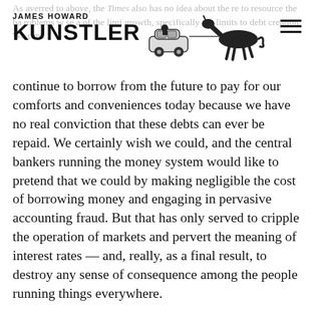JAMES HOWARD KUNSTLER
continue to borrow from the future to pay for our comforts and conveniences today because we have no real conviction that these debts can ever be repaid. We certainly wish we could, and the central bankers running the money system would like to pretend that we could by making negligible the cost of borrowing money and engaging in pervasive accounting fraud. But that has only served to cripple the operation of markets and pervert the meaning of interest rates — and, really, as a final result, to destroy any sense of consequence among the people running things everywhere.
The crackup of that financial system will be the signal failure of the collapse of the current economic regime. The financial system is the most fragile of all the systems we depend on (though the others do not lack fragility). This is the reason, by the way, that oil prices are so low, despite the fact that the cost of producing oil has never been higher. The oil customers are going broke even faster than the oil producers. Does anybody doubt that the standard of living